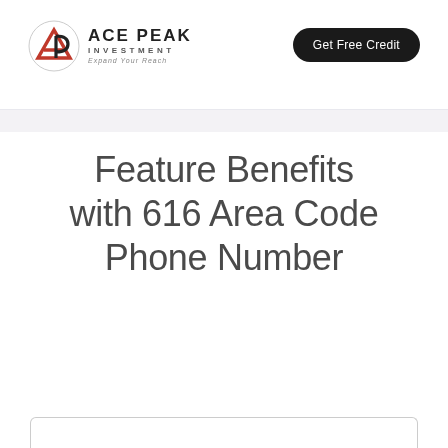ACE PEAK INVESTMENT — Expand Your Reach | Get Free Credit
Feature Benefits with 616 Area Code Phone Number